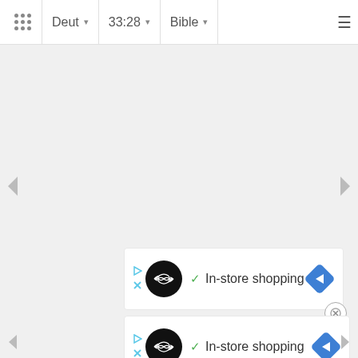Deut 33:28 Bible
[Figure (screenshot): Ad banner: infinity logo circle, checkmark, In-store shopping text, blue diamond navigation arrow. With play and X icons on left side.]
[Figure (screenshot): Second ad banner (partially visible at bottom): same layout as first - infinity logo circle, checkmark, In-store shopping text, blue diamond navigation arrow. Close (X) button above.]